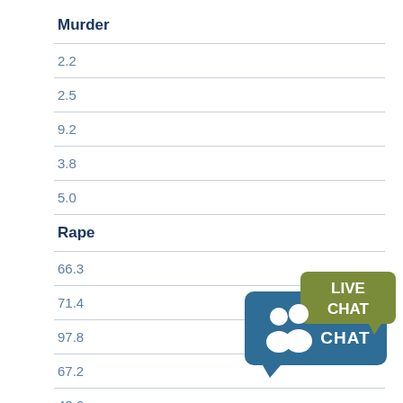| Murder |
| --- |
| 2.2 |
| 2.5 |
| 9.2 |
| 3.8 |
| 5.0 |
| Rape |
| 66.3 |
| 71.4 |
| 97.8 |
| 67.2 |
| 42.6 |
[Figure (illustration): Live Chat bubble icon with blue speech bubble containing people icon and text CHAT, and green speech bubble with text LIVE]